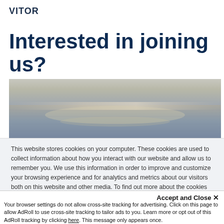VITOR
Interested in joining us?
[Figure (photo): Aerial or wide-angle photograph of ocean water surface with calm waves, muted blue-grey tones]
This website stores cookies on your computer. These cookies are used to collect information about how you interact with our website and allow us to remember you. We use this information in order to improve and customize your browsing experience and for analytics and metrics about our visitors both on this website and other media. To find out more about the cookies we use, see our Privacy Policy
Accept and Close ✕
Your browser settings do not allow cross-site tracking for advertising. Click on this page to allow AdRoll to use cross-site tracking to tailor ads to you. Learn more or opt out of this AdRoll tracking by clicking here. This message only appears once.